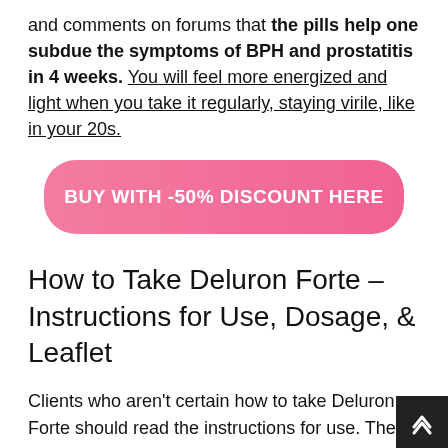and comments on forums that the pills help one subdue the symptoms of BPH and prostatitis in 4 weeks. You will feel more energized and light when you take it regularly, staying virile, like in your 20s.
[Figure (other): Pink gradient button reading BUY WITH -50% DISCOUNT HERE]
How to Take Deluron Forte – Instructions for Use, Dosage, & Leaflet
Clients who aren't certain how to take Deluron Forte should read the instructions for use. The detailed user manual is added to the packaging, as a leaflet. Experts say that Deluron Forte's intake should be combined with increased hydration and regular